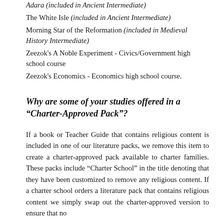Adara (included in Ancient Intermediate)
The White Isle (included in Ancient Intermediate)
Morning Star of the Reformation (included in Medieval History Intermediate)
Zeezok's A Noble Experiment - Civics/Government high school course
Zeezok's Economics - Economics high school course.
Why are some of your studies offered in a “Charter-Approved Pack”?
If a book or Teacher Guide that contains religious content is included in one of our literature packs, we remove this item to create a charter-approved pack available to charter families. These packs include “Charter School” in the title denoting that they have been customized to remove any religious content. If a charter school orders a literature pack that contains religious content we simply swap out the charter-approved version to ensure that no